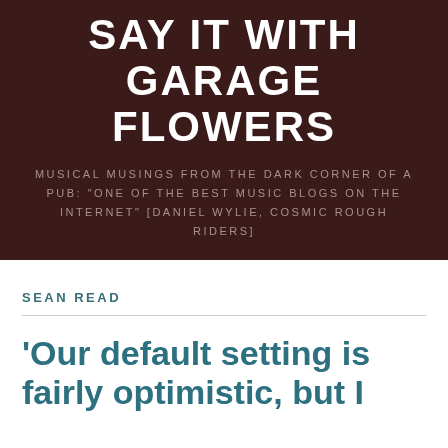SAY IT WITH GARAGE FLOWERS
MUSICAL MUSINGS FROM THE DARK CORNER OF A PUB: "ONE OF THE BEST MUSIC BLOGS ON THE INTERNET" [DANIEL WYLIE, COSMIC ROUGH RIDERS]
SEAN READ
'Our default setting is fairly optimistic, but I